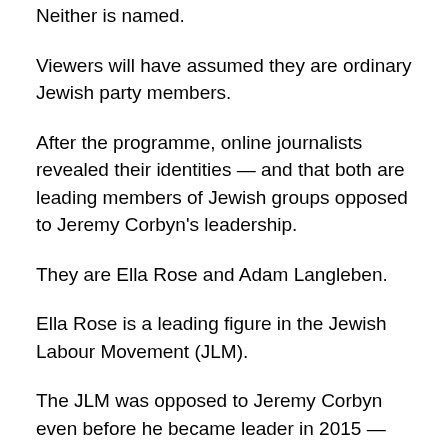Neither is named.
Viewers will have assumed they are ordinary Jewish party members.
After the programme, online journalists revealed their identities — and that both are leading members of Jewish groups opposed to Jeremy Corbyn's leadership.
They are Ella Rose and Adam Langleben.
Ella Rose is a leading figure in the Jewish Labour Movement (JLM).
The JLM was opposed to Jeremy Corbyn even before he became leader in 2015 — and before the allegations of an anti-Semitism problem began to emerge.
In the first leadership contest, JLM endorsed Yvette